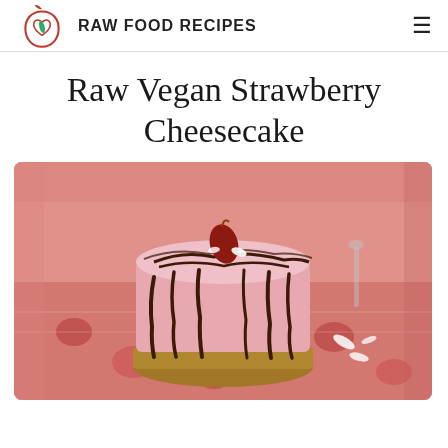RAW FOOD RECIPES
Raw Vegan Strawberry Cheesecake
[Figure (photo): A small individual raw vegan strawberry cheesecake with a nut crust, pink creamy filling, chocolate drizzle on the sides, topped with a dried strawberry and white coconut flakes, sitting on a pink and red heart-patterned surface]